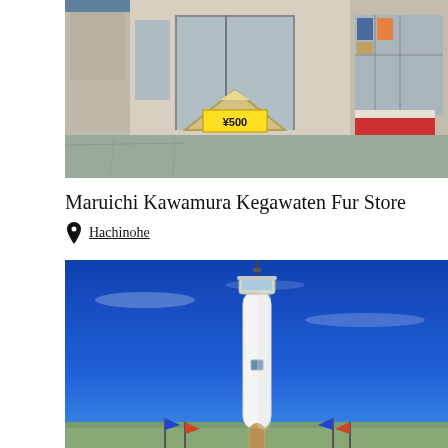[Figure (photo): Storefront of Maruichi Kawamura Kegawaten Fur Store showing shop front with A-frame sign displaying ¥500 price, display windows with merchandise, sliding glass doors]
Maruichi Kawamura Kegawaten Fur Store
Hachinohe
[Figure (photo): White lighthouse against a vivid blue sky with small colorful pennant flags at its base, bright sunny day]